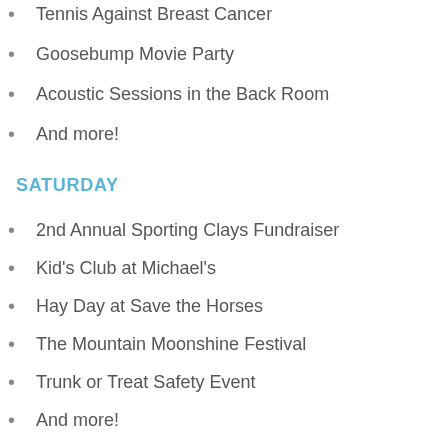Tennis Against Breast Cancer
Goosebump Movie Party
Acoustic Sessions in the Back Room
And more!
SATURDAY
2nd Annual Sporting Clays Fundraiser
Kid's Club at Michael's
Hay Day at Save the Horses
The Mountain Moonshine Festival
Trunk or Treat Safety Event
And more!
SUNDAY
Packs 4 Peers Math Tournament
Diwali Celebration: One World Forsyth